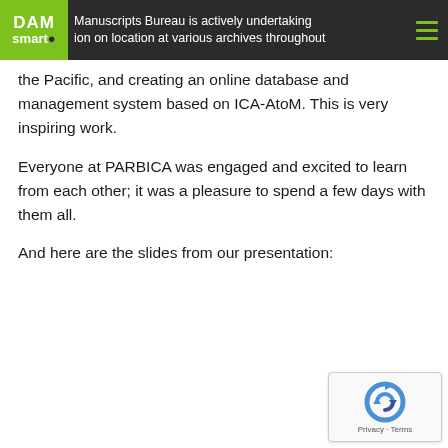Manuscripts Bureau is actively undertaking ion on location at various archives throughout
the Pacific, and creating an online database and management system based on ICA-AtoM. This is very inspiring work.
Everyone at PARBICA was engaged and excited to learn from each other; it was a pleasure to spend a few days with them all.
And here are the slides from our presentation: